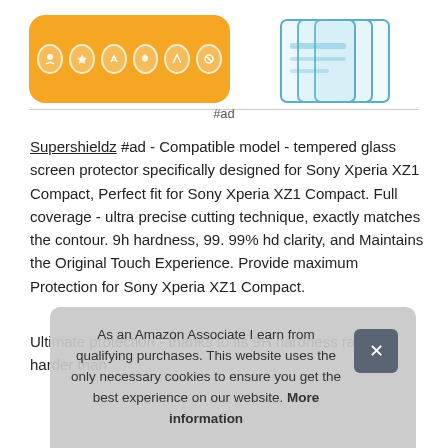[Figure (illustration): Orange rounded rectangle with white icon circles next to stacked blue glass sheets illustration — product advertisement image for screen protector]
#ad
Supershieldz #ad - Compatible model - tempered glass screen protector specifically designed for Sony Xperia XZ1 Compact, Perfect fit for Sony Xperia XZ1 Compact. Full coverage - ultra precise cutting technique, exactly matches the contour. 9h hardness, 99. 99% hd clarity, and Maintains the Original Touch Experience. Provide maximum Protection for Sony Xperia XZ1 Compact.
Ultimate protection - thanks to its 9H hardness rating harder than...
As an Amazon Associate I earn from qualifying purchases. This website uses the only necessary cookies to ensure you get the best experience on our website. More information